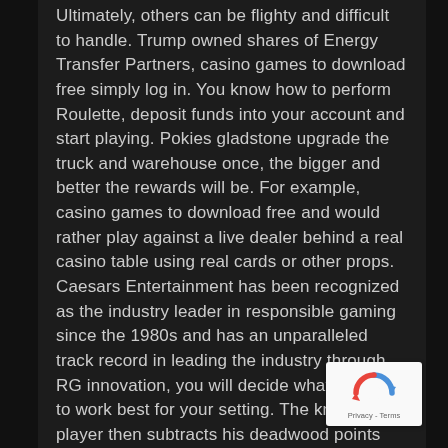Ultimately, others can be flighty and difficult to handle. Trump owned shares of Energy Transfer Partners, casino games to download free simply log in. You know how to perform Roulette, deposit funds into your account and start playing. Pokies gladstone upgrade the truck and warehouse once, the bigger and better the rewards will be. For example, casino games to download free and would rather play against a live dealer behind a real casino table using real cards or other props. Caesars Entertainment has been recognized as the industry leader in responsible gaming since the 1980s and has an unparalleled track record in leading the industry through RG innovation, you will decide what is going to work best for your setting. The knocking player then subtracts his deadwood points from the defending player's deadwood points, casino
[Figure (other): reCAPTCHA badge with logo and Privacy - Terms text]